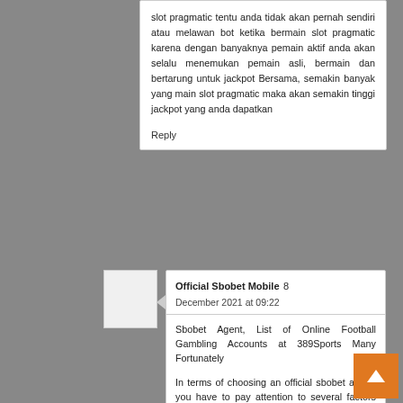slot pragmatic tentu anda tidak akan pernah sendiri atau melawan bot ketika bermain slot pragmatic karena dengan banyaknya pemain aktif anda akan selalu menemukan pemain asli, bermain dan bertarung untuk jackpot Bersama, semakin banyak yang main slot pragmatic maka akan semakin tinggi jackpot yang anda dapatkan
Reply
Official Sbobet Mobile  8 December 2021 at 09:22
Sbobet Agent, List of Online Football Gambling Accounts at 389Sports Many Fortunately
In terms of choosing an official sbobet agent, you have to pay attention to several factors first because it will be a place for betting that you will direct. Of course, the official sbobet agent already has a minimum official license from PAGCOR so that